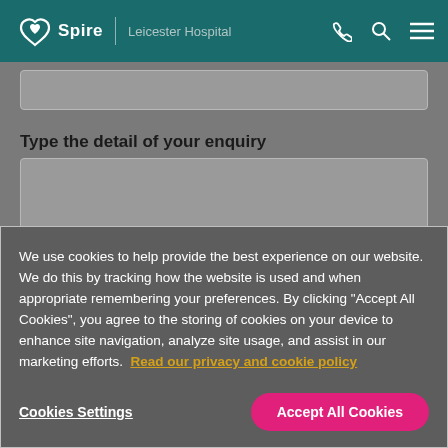Spire | Leicester Hospital
Type the detail of your enquiry
We use cookies to help provide the best experience on our website. We do this by tracking how the website is used and when appropriate remembering your preferences. By clicking "Accept All Cookies", you agree to the storing of cookies on your device to enhance site navigation, analyze site usage, and assist in our marketing efforts. Read our privacy and cookie policy
Cookies Settings
Accept All Cookies